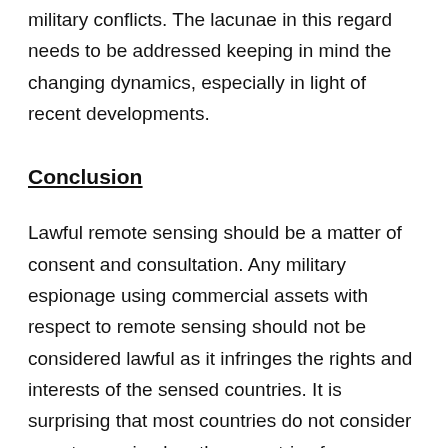military conflicts. The lacunae in this regard needs to be addressed keeping in mind the changing dynamics, especially in light of recent developments.
Conclusion
Lawful remote sensing should be a matter of consent and consultation. Any military espionage using commercial assets with respect to remote sensing should not be considered lawful as it infringes the rights and interests of the sensed countries. It is surprising that most countries do not consider remote sensing by other countries for